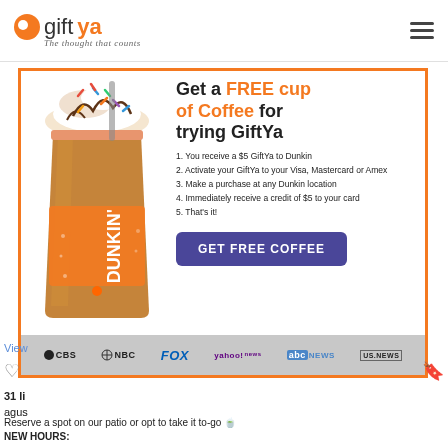giftya — The thought that counts
[Figure (screenshot): GiftYa promotional advertisement featuring a Dunkin' iced coffee drink with whipped cream and sprinkles. Ad reads: Get a FREE cup of Coffee for trying GiftYa. Steps: 1. You receive a $5 GiftYa to Dunkin. 2. Activate your GiftYa to your Visa, Mastercard or Amex. 3. Make a purchase at any Dunkin location. 4. Immediately receive a credit of $5 to your card. 5. That's it! Button: GET FREE COFFEE. Media logos: CBS, NBC, FOX, yahoo! news, abc NEWS, US.NEWS]
View
31 li
agus
Reserve a spot on our patio or opt to take it to-go 🍵
NEW HOURS: